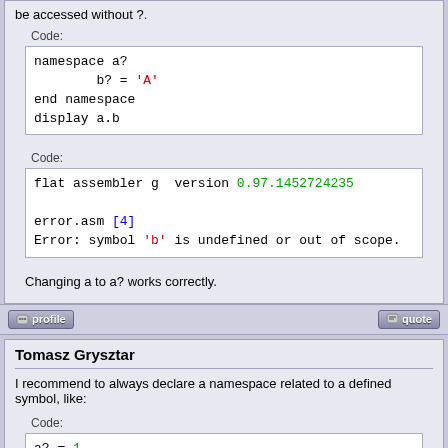be accessed without ?.
Code:
[Figure (screenshot): Code block showing: namespace a? / b? = 'A' / end namespace / display a.b]
Code:
[Figure (screenshot): Code block showing: flat assembler g  version 0.97.1452724235 / error.asm [4] / Error: symbol 'b' is undefined or out of scope.]
Changing a to a? works correctly.
profile | quote buttons
Tomasz Grysztar
I recommend to always declare a namespace related to a defined symbol, like:
Code:
[Figure (screenshot): Code block showing: a? = 1 / namespace a?]
because identifier like "a.b" looks for a defined symbol that "a" part applies to, and when no such symbol is found it defaults to the